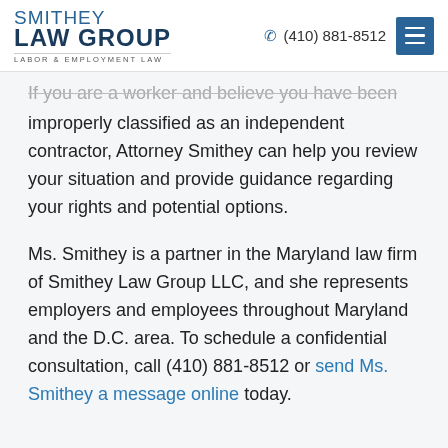SMITHEY LAW GROUP LABOR & EMPLOYMENT LAW | (410) 881-8512
If you are a worker and believe you have been improperly classified as an independent contractor, Attorney Smithey can help you review your situation and provide guidance regarding your rights and potential options.
Ms. Smithey is a partner in the Maryland law firm of Smithey Law Group LLC, and she represents employers and employees throughout Maryland and the D.C. area. To schedule a confidential consultation, call (410) 881-8512 or send Ms. Smithey a message online today.